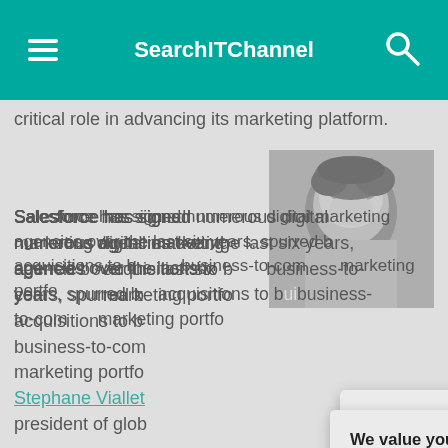SearchITChannel
critical role in advancing its marketing platform.
[Figure (photo): Black and white photo of a person, head and shoulders, cropped]
Salesforce has signed numerous digital marketing agencies over the last six years, spurred by acquisitions to build a business-to-consumer marketing portfolio.
Stephane Viallet, vice president of global agencies, at Salesforce — Salesforce's acquisitions of marketing software tools, as well as e-commerce and management platforms — Salesforce's allia...
We value your privacy.
TechTarget and its partners employ cookies to improve your experience on our site, to analyze traffic and performance, and to serve personalized content and advertising that are relevant to your professional interests. You can manage your settings at any time. Please view our Privacy Policy for more information